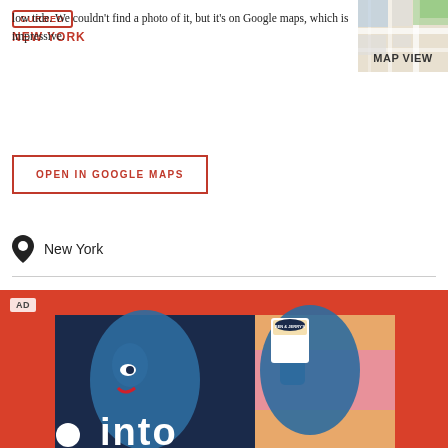CURBED NEW YORK
low tide. We couldn't find a photo of it, but it's on Google maps, which is impressive.
OPEN IN GOOGLE MAPS
New York
[Figure (photo): Ben & Jerry's advertisement with colorful illustrated artwork on red background, showing stylized figures and the text 'into', partial view]
AD